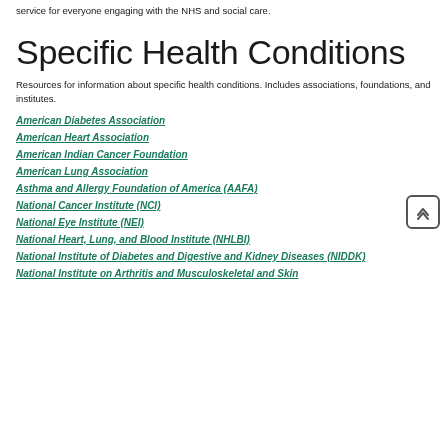service for everyone engaging with the NHS and social care.
Specific Health Conditions
Resources for information about specific health conditions. Includes associations, foundations, and institutes.
American Diabetes Association
American Heart Association
American Indian Cancer Foundation
American Lung Association
Asthma and Allergy Foundation of America (AAFA)
National Cancer Institute (NCI)
National Eye Institute (NEI)
National Heart, Lung, and Blood Institute (NHLBI)
National Institute of Diabetes and Digestive and Kidney Diseases (NIDDK)
National Institute on Arthritis and Musculoskeletal and Skin